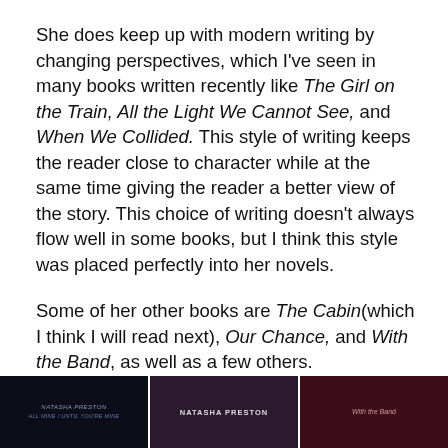She does keep up with modern writing by changing perspectives, which I've seen in many books written recently like The Girl on the Train, All the Light We Cannot See, and When We Collided. This style of writing keeps the reader close to character while at the same time giving the reader a better view of the story. This choice of writing doesn't always flow well in some books, but I think this style was placed perfectly into her novels.
Some of her other books are The Cabin (which I think I will read next), Our Chance, and With the Band, as well as a few others.
[Figure (photo): Three book covers side by side at the bottom of the page. Left: dark cover with Natasha Preston author name. Center: dark cover with 'NATASHA PRESTON' text. Right: dark reddish cover with partial text visible.]